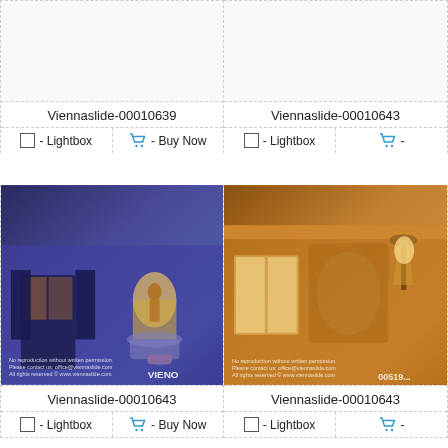[Figure (photo): Top-left photo card (partially visible at top), blank/cropped photo area]
Viennaslide-00010639
- Lightbox  - Buy Now
[Figure (photo): Top-right photo card (partially visible at top), blank/cropped photo area]
Viennaslide-00010643
- Lightbox  - Buy Now
[Figure (photo): Bottom-left photo: Vienna street scene at dusk/night, blue-purple tones, building facade with illuminated niche statue, dark shuttered windows, potted plant]
Viennaslide-00010643
- Lightbox  - Buy Now
[Figure (photo): Bottom-right photo (partially visible): Vienna building facade at night, warm orange tones, windows, fresco, street lamp]
Viennaslide-00010643
- Lightbox  - Buy Now